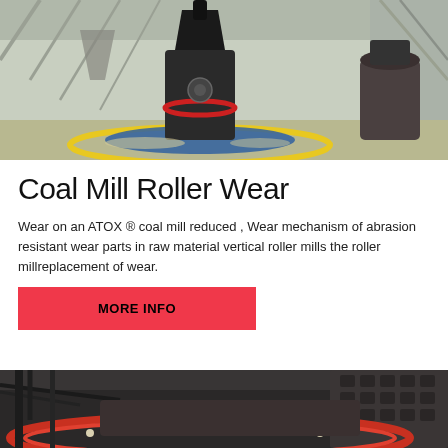[Figure (photo): Industrial coal mill machine inside a large warehouse/factory building. A large dark conical grinding machine is in the center with yellow floor markings around its base. Another machine visible on the right. Steel structure and roof visible in background.]
Coal Mill Roller Wear
Wear on an ATOX ® coal mill reduced , Wear mechanism of abrasion resistant wear parts in raw material vertical roller mills the roller millreplacement of wear.
MORE INFO
[Figure (photo): Close-up industrial photo of roller mill machinery showing a large orange/red circular ring component and mechanical parts including pipes and cables in dark industrial setting.]